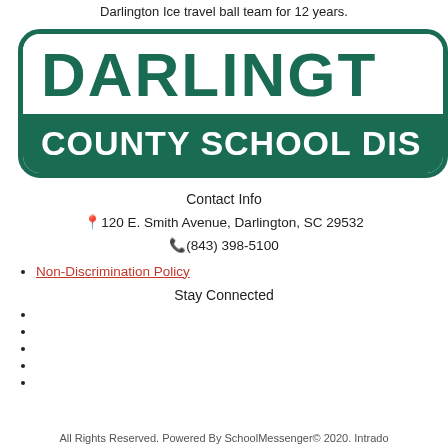Darlington Ice travel ball team for 12 years.
[Figure (logo): Darlington County School District logo with teal border, large teal text 'DARLINGT' on white background and 'COUNTY SCHOOL DIS' on teal background]
Contact Info
📍120 E. Smith Avenue, Darlington, SC 29532
📞(843) 398-5100
Non-Discrimination Policy
Stay Connected
All Rights Reserved. Powered By SchoolMessenger© 2020. Intrado